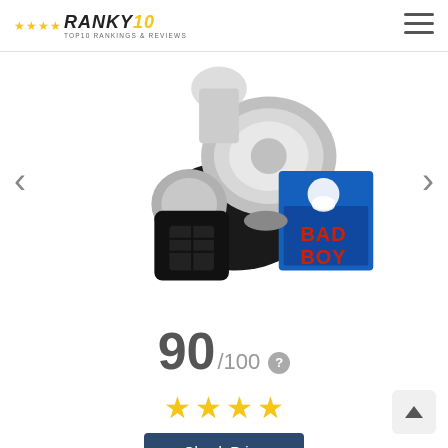RANKY10 — TOP10 RANKINGS & REVIEWS
[Figure (photo): Product photo of a Bad Boy car horn kit with black plastic connector, chrome disc horn, and blue product box with cartoon character labelled 'BAD BOY']
90 /100
[Figure (other): Four yellow star rating icons]
Check Price